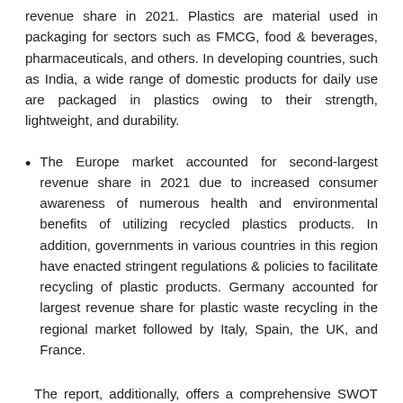revenue share in 2021. Plastics are material used in packaging for sectors such as FMCG, food & beverages, pharmaceuticals, and others. In developing countries, such as India, a wide range of domestic products for daily use are packaged in plastics owing to their strength, lightweight, and durability.
The Europe market accounted for second-largest revenue share in 2021 due to increased consumer awareness of numerous health and environmental benefits of utilizing recycled plastics products. In addition, governments in various countries in this region have enacted stringent regulations & policies to facilitate recycling of plastic products. Germany accounted for largest revenue share for plastic waste recycling in the regional market followed by Italy, Spain, the UK, and France.
The report, additionally, offers a comprehensive SWOT analysis and Porter's Five Forces analysis to offer a better understanding of the competitive landscape of the